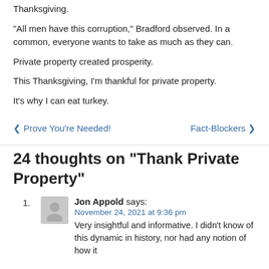Thanksgiving.
“All men have this corruption,” Bradford observed. In a common, everyone wants to take as much as they can.
Private property created prosperity.
This Thanksgiving, I’m thankful for private property.
It’s why I can eat turkey.
❮ Prove You’re Needed!    Fact-Blockers ❯
24 thoughts on “Thank Private Property”
1. Jon Appold says: November 24, 2021 at 9:36 pm Very insightful and informative. I didn’t know of this dynamic in history, nor had any notion of how it